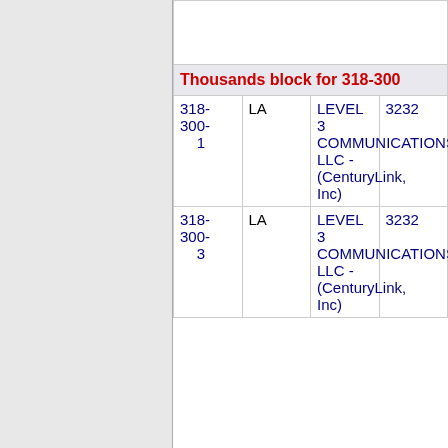| Number | State | Company | Code |
| --- | --- | --- | --- |
| Thousands block for 318-300 |  |  |  |
| 318-300-1 | LA | LEVEL 3 COMMUNICATIONS, LLC - (CenturyLink, Inc) | 3232 |
| 318-300-3 | LA | LEVEL 3 COMMUNICATIONS, LLC - (CenturyLink, Inc) | 3232 |